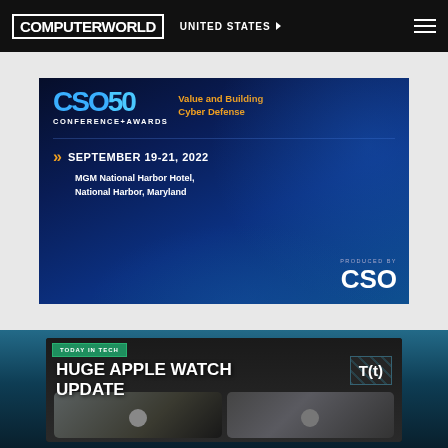COMPUTERWORLD | UNITED STATES
[Figure (photo): CSO50 Conference+Awards advertisement banner. Blue gradient background. Text reads: CSO 50 CONFERENCE+AWARDS | Value and Building Cyber Defense. >> SEPTEMBER 19-21, 2022. MGM National Harbor Hotel, National Harbor, Maryland. PRODUCED BY CSO.]
[Figure (screenshot): Video thumbnail for 'Today in Tech' segment titled 'HUGE APPLE WATCH UPDATE' with T(t) logo in upper right, and two person thumbnails at the bottom.]